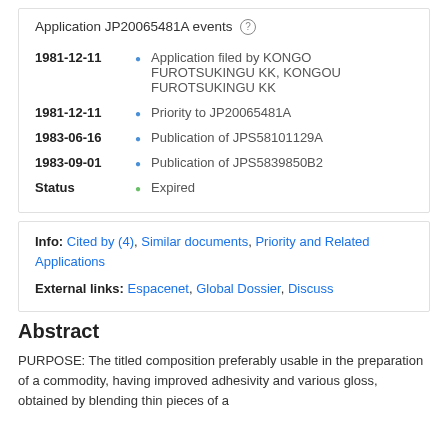Application JP20065481A events ⓘ
1981-12-11 • Application filed by KONGO FUROTSUKINGU KK, KONGOU FUROTSUKINGU KK
1981-12-11 • Priority to JP20065481A
1983-06-16 • Publication of JPS58101129A
1983-09-01 • Publication of JPS5839850B2
Status • Expired
Info: Cited by (4), Similar documents, Priority and Related Applications
External links: Espacenet, Global Dossier, Discuss
Abstract
PURPOSE: The titled composition preferably usable in the preparation of a commodity, having improved adhesivity and various gloss, obtained by blending thin pieces of a